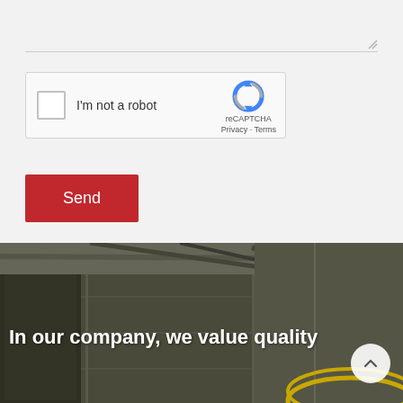[Figure (screenshot): reCAPTCHA widget with checkbox labeled 'I'm not a robot', reCAPTCHA logo and Privacy/Terms links]
Send
[Figure (photo): Industrial warehouse interior with metal walls, overhead pipes and beams. Text overlay: 'In our company, we value quality'. Yellow safety railing visible at bottom right. Back-to-top circular button in bottom right corner.]
In our company, we value quality